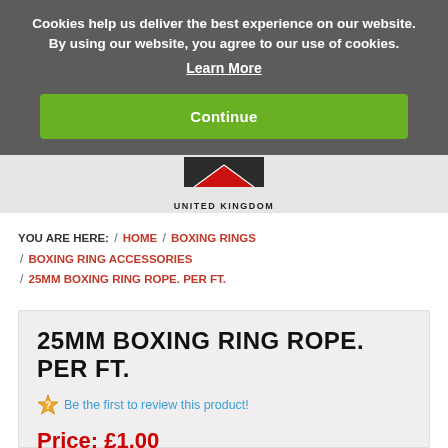Cookies help us deliver the best experience on our website. By using our website, you agree to our use of cookies. Learn More
Continue
[Figure (logo): Website logo with red triangle and UNITED KINGDOM text]
YOU ARE HERE: / HOME / BOXING RINGS / BOXING RING ACCESSORIES / 25MM BOXING RING ROPE. PER FT.
25MM BOXING RING ROPE. PER FT.
Be the first to review this product!
Price: £1.00